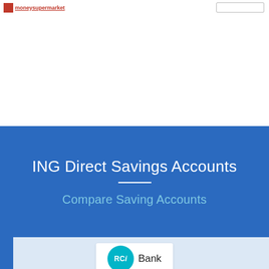ING Direct Savings Accounts — Compare Saving Accounts
ING Direct Savings Accounts
Compare Saving Accounts
[Figure (logo): RCi Bank logo with teal circle containing 'RCi' text and 'Bank' label]